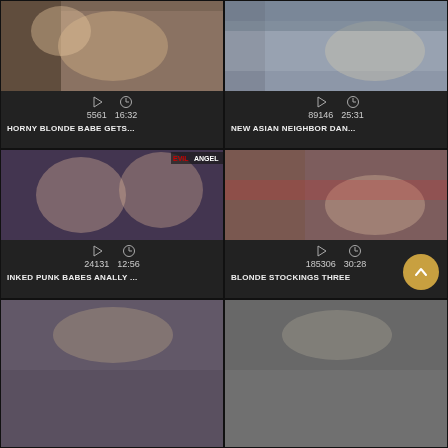[Figure (screenshot): Video thumbnail 1 - blonde woman]
5561  16:32
HORNY BLONDE BABE GETS...
[Figure (screenshot): Video thumbnail 2 - Asian neighbor]
89146  25:31
NEW ASIAN NEIGHBOR DAN...
[Figure (screenshot): Video thumbnail 3 - BDSM punk babes, EvilAngel watermark]
24131  12:56
INKED PUNK BABES ANALLY ...
[Figure (screenshot): Video thumbnail 4 - blonde stockings]
185306  30:28
BLONDE STOCKINGS THREE
[Figure (screenshot): Video thumbnail 5 - partial, bottom left]
[Figure (screenshot): Video thumbnail 6 - partial, bottom right]